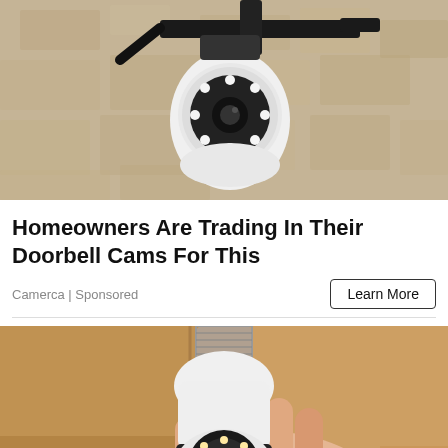[Figure (photo): A security camera mounted on a wall bracket installed in a light bulb socket, photographed against a textured beige/tan stone wall]
Homeowners Are Trading In Their Doorbell Cams For This
Camerca | Sponsored
Learn More
[Figure (photo): A hand holding a white light bulb-shaped security camera with a screw base and a black ring with LED lights around the lens, against a cardboard box background]